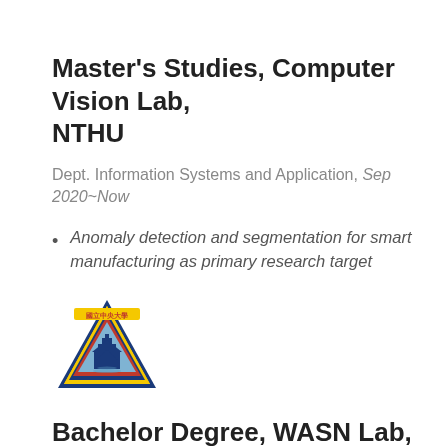Master's Studies, Computer Vision Lab, NTHU
Dept. Information Systems and Application, Sep 2020~Now
Anomaly detection and segmentation for smart manufacturing as primary research target
[Figure (logo): NCU triangular logo with blue border, yellow and red design, building illustration]
Bachelor Degree, WASN Lab, NCU
Dept. Computer Science, Sep 2016 ~ June 2020